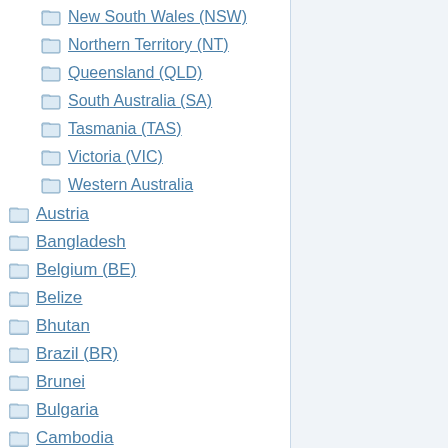New South Wales (NSW)
Northern Territory (NT)
Queensland (QLD)
South Australia (SA)
Tasmania (TAS)
Victoria (VIC)
Western Australia
Austria
Bangladesh
Belgium (BE)
Belize
Bhutan
Brazil (BR)
Brunei
Bulgaria
Cambodia
Canada (CAN)
Alberta (AB)
British Columbia (BC)
Canada – Non Specific